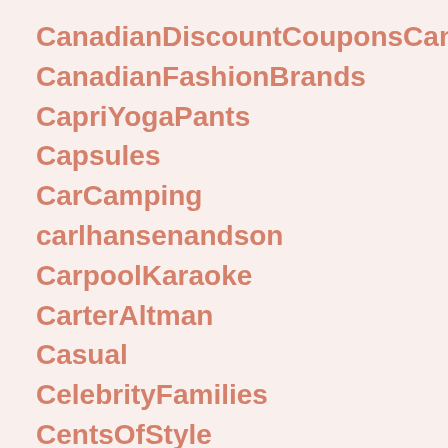CanadianDiscountCouponsCanada
CanadianFashionBrands
CapriYogaPants
Capsules
CarCamping
carlhansenandson
CarpoolKaraoke
CarterAltman
Casual
CelebrityFamilies
CentsOfStyle
ChalkPaintProjectsDiy
ChalkPaintProjectsUk
ChalkPaintSpray
ChargingStationAv…